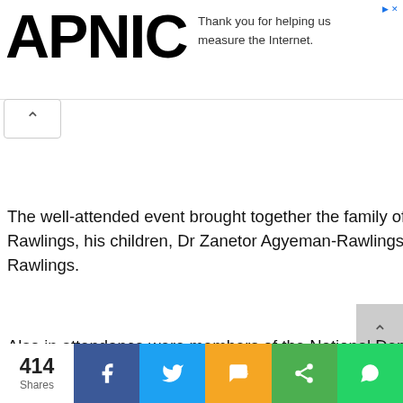APNIC — Thank you for helping us measure the Internet.
The well-attended event brought together the family of the late President, including his wife, Nana Konadu Agyeman-Rawlings, his children, Dr Zanetor Agyeman-Rawlings, Kimathi Rawlings, Yaa Asantewaa Rawlings and Amina Rawlings.
Also in attendance were members of the National Democratic Congress (NDC) and former government officials such as E.T
414 Shares